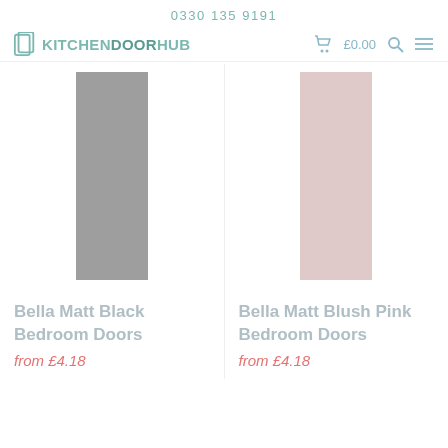0330 135 9191
[Figure (logo): KitchenDoorHub logo with basket icon, £0.00 price, search and menu icons]
[Figure (photo): Bella Matt Black Bedroom Door - vertical gray door swatch]
Bella Matt Black Bedroom Doors
from £4.18
[Figure (photo): Bella Matt Blush Pink Bedroom Door - vertical blush pink door swatch]
Bella Matt Blush Pink Bedroom Doors
from £4.18